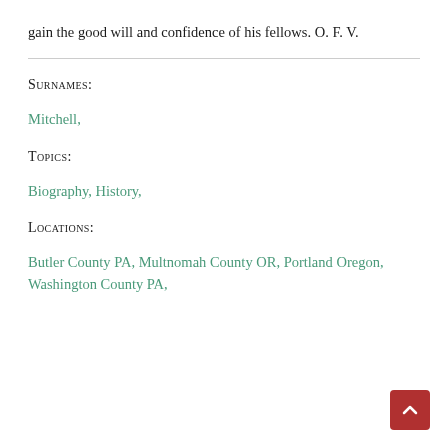gain the good will and confidence of his fellows. O. F. V.
Surnames:
Mitchell,
Topics:
Biography, History,
Locations:
Butler County PA, Multnomah County OR, Portland Oregon, Washington County PA,